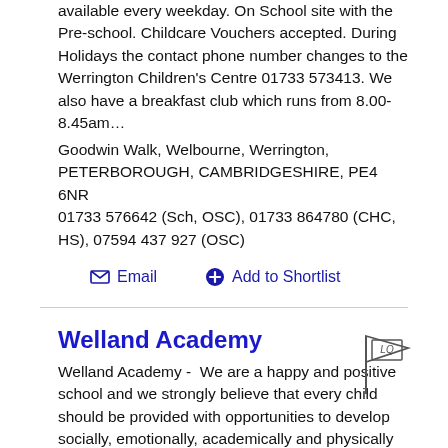available every weekday. On School site with the Pre-school. Childcare Vouchers accepted. During Holidays the contact phone number changes to the Werrington Children's Centre 01733 573413. We also have a breakfast club which runs from 8.00-8.45am…
Goodwin Walk, Welbourne, Werrington, PETERBOROUGH, CAMBRIDGESHIRE, PE4 6NR
01733 576642 (Sch, OSC), 01733 864780 (CHC, HS), 07594 437 927 (OSC)
Email   Add to Shortlist
Welland Academy
Welland Academy -  We are a happy and positive school and we strongly believe that every child should be provided with opportunities to develop socially, emotionally, academically and physically and through this our pupils will achieve their full potential. We are